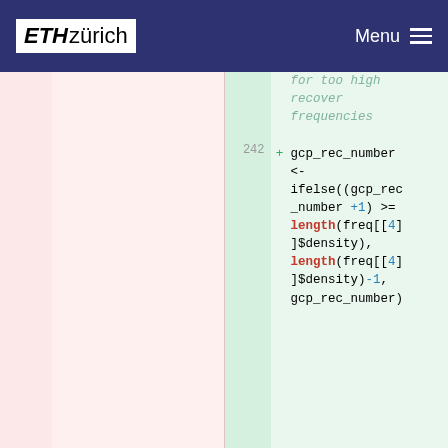ETH zürich  Menu
[Figure (screenshot): Code diff view showing removed line 232 'return(score)' on left and added lines 242-244 on right with R code for gcp_rec_number assignment and too_high_freq calculation]